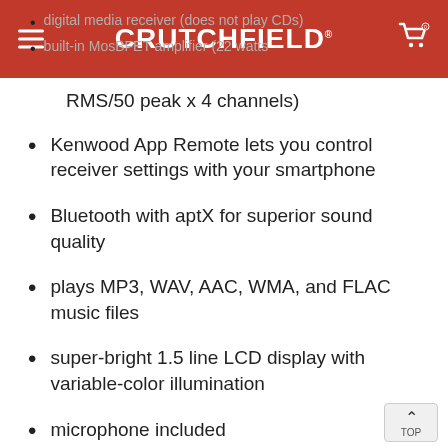CRUTCHFIELD
digital media receiver (does not play CDs)
built-in MosBFET amplifier (22 watts RMS/50 peak x 4 channels)
Kenwood App Remote lets you control receiver settings with your smartphone
Bluetooth with aptX for superior sound quality
plays MP3, WAV, AAC, WMA, and FLAC music files
super-bright 1.5 line LCD display with variable-color illumination
microphone included
Smartphone Features:
Near-Field Communication for lightning fast pairing